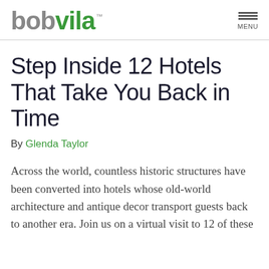bob vila™ MENU
Step Inside 12 Hotels That Take You Back in Time
By Glenda Taylor
Across the world, countless historic structures have been converted into hotels whose old-world architecture and antique decor transport guests back to another era. Join us on a virtual visit to 12 of these